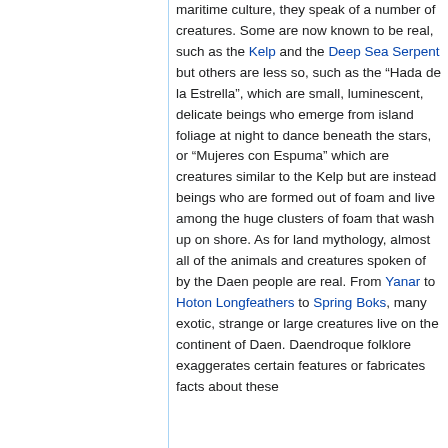maritime culture, they speak of a number of creatures. Some are now known to be real, such as the Kelp and the Deep Sea Serpent but others are less so, such as the “Hada de la Estrella”, which are small, luminescent, delicate beings who emerge from island foliage at night to dance beneath the stars, or “Mujeres con Espuma” which are creatures similar to the Kelp but are instead beings who are formed out of foam and live among the huge clusters of foam that wash up on shore. As for land mythology, almost all of the animals and creatures spoken of by the Daen people are real. From Yanar to Hoton Longfeathers to Spring Boks, many exotic, strange or large creatures live on the continent of Daen. Daendroque folklore exaggerates certain features or fabricates facts about these